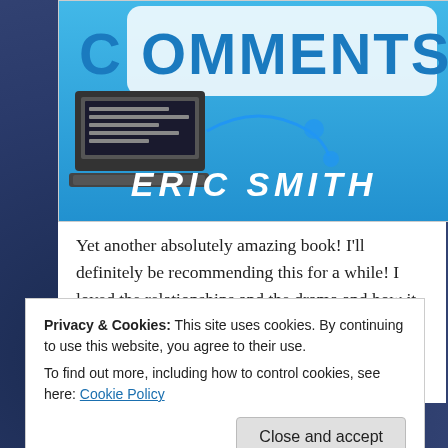[Figure (illustration): Book cover for a book with 'COMMENTS' in the title by Eric Smith. Blue background with a laptop illustration and speech bubble motif. Author name 'ERIC SMITH' displayed prominently.]
Yet another absolutely amazing book! I'll definitely be recommending this for a while! I loved the relationships and the drama and how it tied into video games! I got an ARC through netgalley and devoured this in like one day so… yeah. GO ADD IT TO YOUR TBRs
Privacy & Cookies: This site uses cookies. By continuing to use this website, you agree to their use.
To find out more, including how to control cookies, see here: Cookie Policy
Close and accept